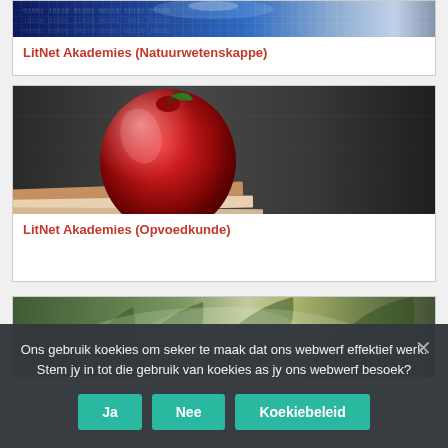[Figure (photo): Digital/technology themed banner with binary code and blue glowing light effect]
LitNet Akademies (Natuurwetenskappe)
[Figure (photo): Red apple resting on books against a dark chalkboard background — education theme]
LitNet Akademies (Opvoedkunde)
[Figure (photo): Green plant leaves — partially visible at bottom]
Ons gebruik koekies om seker te maak dat ons webwerf effektief werk. Stem jy in tot die gebruik van koekies as jy ons webwerf besoek?